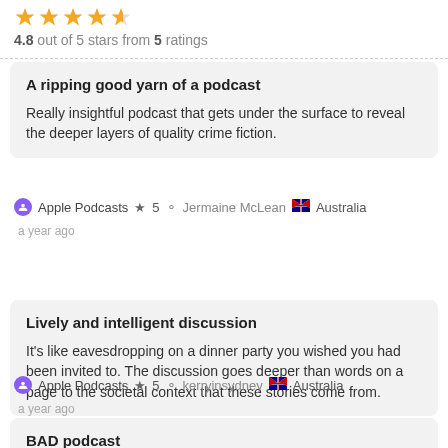4.8 out of 5 stars from 5 ratings
A ripping good yarn of a podcast
Really insightful podcast that gets under the surface to reveal the deeper layers of quality crime fiction.
Apple Podcasts ★ 5 Jermaine McLean 🇦🇺 Australia a year ago
Lively and intelligent discussion
It's like eavesdropping on a dinner party you wished you had been invited to. The discussion goes deeper than words on a page to the societal context that these stories come from.
Apple Podcasts ★ 5 kerryinsydney 🇦🇺 Australia a year ago
BAD podcast